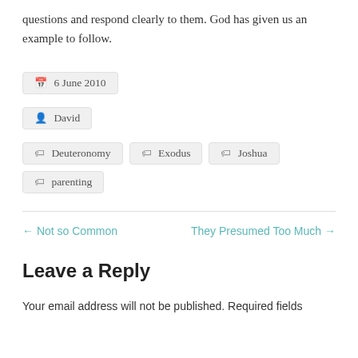questions and respond clearly to them. God has given us an example to follow.
6 June 2010
David
Deuteronomy  Exodus  Joshua  parenting
← Not so Common
They Presumed Too Much →
Leave a Reply
Your email address will not be published. Required fields